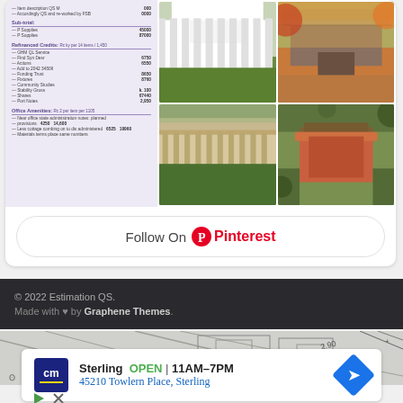[Figure (screenshot): Left panel showing a financial estimation table with purple/lavender background, and right grid of 4 mansion/estate photos]
Follow On Pinterest
© 2022 Estimation QS. Made with ♥ by Graphene Themes.
[Figure (photo): Blueprint/architectural drawing strip background]
[Figure (screenshot): Advertisement: Sterling OPEN 11AM-7PM, 45210 Towlern Place, Sterling with CM logo and navigation arrow]